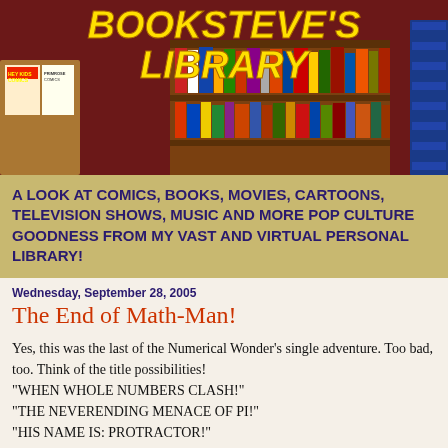[Figure (photo): Banner image of a bookshelf library with comic books and books, overlaid with yellow bold italic text reading BOOKSTEVE'S LIBRARY]
A LOOK AT COMICS, BOOKS, MOVIES, CARTOONS, TELEVISION SHOWS, MUSIC AND MORE POP CULTURE GOODNESS FROM MY VAST AND VIRTUAL PERSONAL LIBRARY!
Wednesday, September 28, 2005
The End of Math-Man!
Yes, this was the last of the Numerical Wonder's single adventure. Too bad, too. Think of the title possibilities!
"WHEN WHOLE NUMBERS CLASH!"
"THE NEVERENDING MENACE OF PI!"
"HIS NAME IS: PROTRACTOR!"
The list is endless!